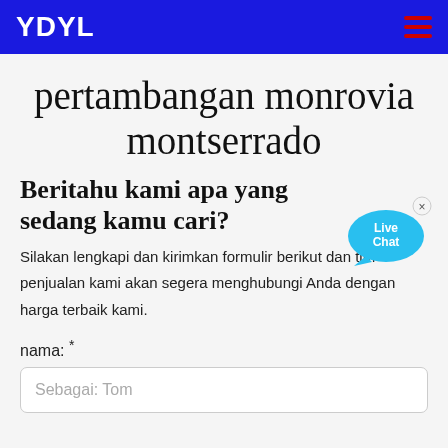YDYL
pertambangan monrovia montserrado
[Figure (illustration): Live Chat bubble icon with close button in top right, cyan/teal color with 'Live Chat' text]
Beritahu kami apa yang sedang kamu cari?
Silakan lengkapi dan kirimkan formulir berikut dan tim penjualan kami akan segera menghubungi Anda dengan harga terbaik kami.
nama: *
Sebagai: Tom